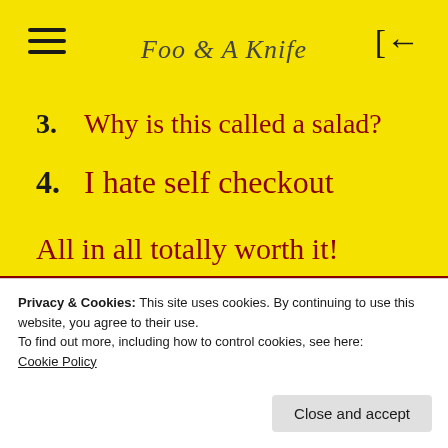Foo & A Knife
3. Why is this called a salad?
4. I hate self checkout
All in all totally worth it!
I love a good eventful shopping trip but
Privacy & Cookies: This site uses cookies. By continuing to use this website, you agree to their use. To find out more, including how to control cookies, see here: Cookie Policy